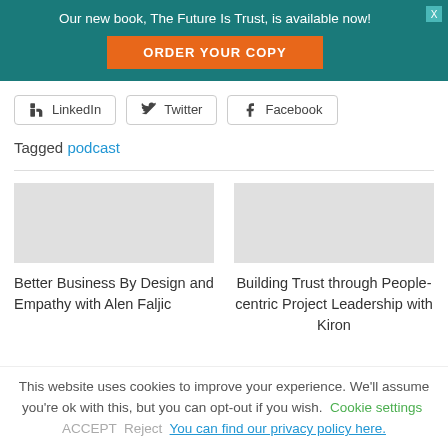Our new book, The Future Is Trust, is available now!
ORDER YOUR COPY
LinkedIn  Twitter  Facebook
Tagged podcast
Better Business By Design and Empathy with Alen Faljic
Building Trust through People-centric Project Leadership with Kiron
This website uses cookies to improve your experience. We'll assume you're ok with this, but you can opt-out if you wish.  Cookie settings  ACCEPT  Reject  You can find our privacy policy here.